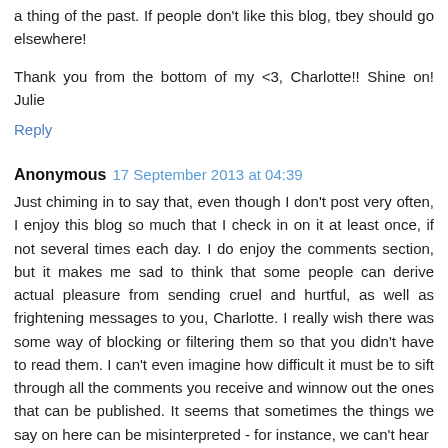a thing of the past. If people don't like this blog, tbey should go elsewhere!
Thank you from the bottom of my <3, Charlotte!! Shine on! Julie
Reply
Anonymous  17 September 2013 at 04:39
Just chiming in to say that, even though I don't post very often, I enjoy this blog so much that I check in on it at least once, if not several times each day. I do enjoy the comments section, but it makes me sad to think that some people can derive actual pleasure from sending cruel and hurtful, as well as frightening messages to you, Charlotte. I really wish there was some way of blocking or filtering them so that you didn't have to read them. I can't even imagine how difficult it must be to sift through all the comments you receive and winnow out the ones that can be published. It seems that sometimes the things we say on here can be misinterpreted - for instance, we can't hear